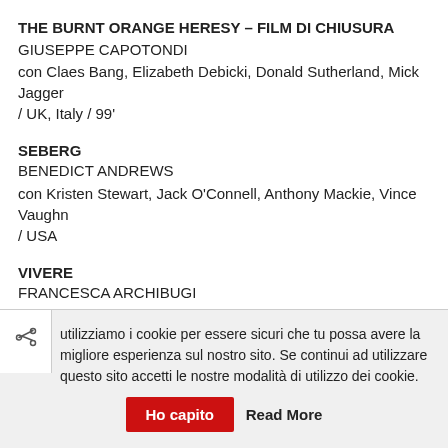THE BURNT ORANGE HERESY – FILM DI CHIUSURA
GIUSEPPE CAPOTONDI
con Claes Bang, Elizabeth Debicki, Donald Sutherland, Mick Jagger / UK, Italy / 99'
SEBERG
BENEDICT ANDREWS
con Kristen Stewart, Jack O'Connell, Anthony Mackie, Vince Vaughn / USA
VIVERE
FRANCESCA ARCHIBUGI
con Micaela Ramazzotti, Adriano Giannini, Massimo Ghini, Marcello…
utilizziamo i cookie per essere sicuri che tu possa avere la migliore esperienza sul nostro sito. Se continui ad utilizzare questo sito accetti le nostre modalità di utilizzo dei cookie.